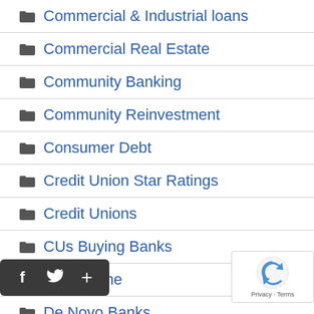Commercial & Industrial loans
Commercial Real Estate
Community Banking
Community Reinvestment
Consumer Debt
Credit Union Star Ratings
Credit Unions
CUs Buying Banks
Cybercrime
De Novo Banks
Jumbo Rate News